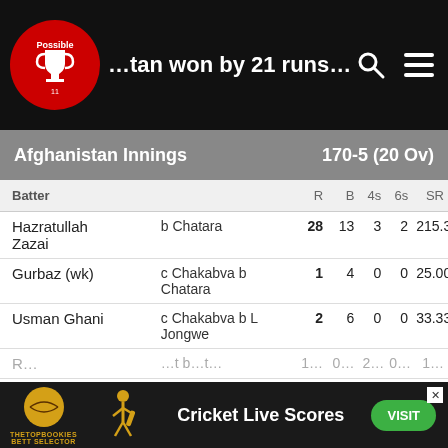Afghanistan won by 21 runs
Afghanistan Innings — 170-5 (20 Ov)
| Batter |  | R | B | 4s | 6s | SR |
| --- | --- | --- | --- | --- | --- | --- |
| Hazratullah Zazai | b Chatara | 28 | 13 | 3 | 2 | 215.38 |
| Gurbaz (wk) | c Chakabva b Chatara | 1 | 4 | 0 | 0 | 25.00 |
| Usman Ghani | c Chakabva b L Jongwe | 2 | 6 | 0 | 0 | 33.33 |
[Figure (other): TheTopBookies Cricket Live Scores advertisement banner with VISIT button]